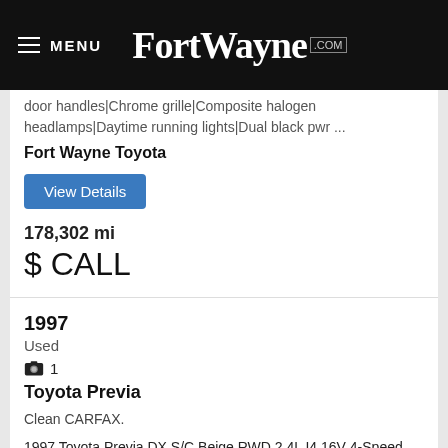MENU | FortWayne.com
door handles|Chrome grille|Composite halogen headlamps|Daytime running lights|Dual black pwr ...
Fort Wayne Toyota
View Details
178,302 mi
$ CALL
1997
Used
1
Toyota Previa
Clean CARFAX.
1997 Toyota Previa DX S/C Beige RWD 2.4L I4 16V 4-Speed Automatic